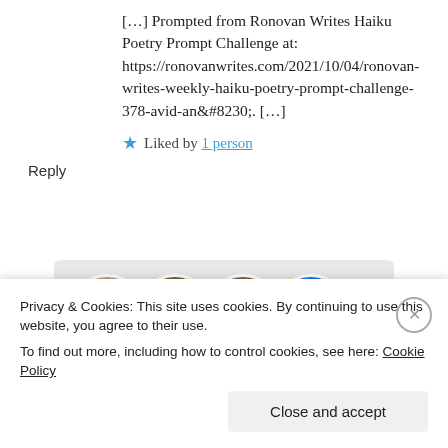[…] Prompted from Ronovan Writes Haiku Poetry Prompt Challenge at: https://ronovanwrites.com/2021/10/04/ronovan-writes-weekly-haiku-poetry-prompt-challenge-378-avid-an&#8230;. […]
★ Liked by 1 person
Reply
[Figure (illustration): Three circular avatar photos of people and a blue circle with a plus sign, arranged in a row on a grey card background]
Privacy & Cookies: This site uses cookies. By continuing to use this website, you agree to their use. To find out more, including how to control cookies, see here: Cookie Policy
Close and accept